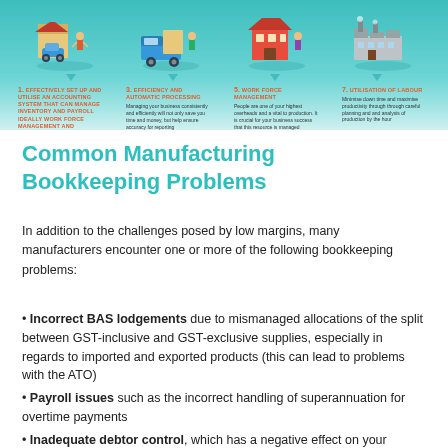[Figure (infographic): Infographic banner with teal background showing 4 isometric manufacturing/business icons with numbered tips: 1. Effectively set up and utilise an accounting system that can manage inventory and payroll; 3. Efficiency and Automatic Processing; 5. Work Force Management; 7. Utilisation of Labour]
Common Manufacturing Bookkeeping Problems
In addition to the challenges posed by low margins, many manufacturers encounter one or more of the following bookkeeping problems:
• Incorrect BAS lodgements due to mismanaged allocations of the split between GST-inclusive and GST-exclusive supplies, especially in regards to imported and exported products (this can lead to problems with the ATO)
• Payroll issues such as the incorrect handling of superannuation for overtime payments
• Inadequate debtor control, which has a negative effect on your